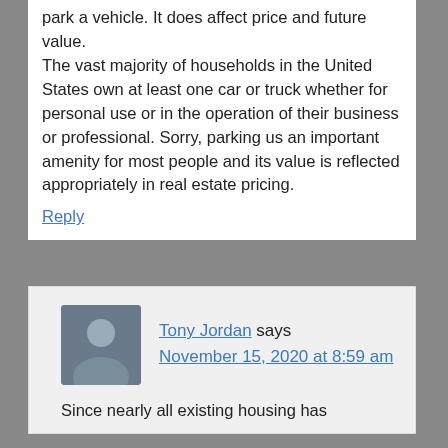park a vehicle. It does affect price and future value. The vast majority of households in the United States own at least one car or truck whether for personal use or in the operation of their business or professional. Sorry, parking us an important amenity for most people and its value is reflected appropriately in real estate pricing.
Reply
Tony Jordan says
November 15, 2020 at 8:59 am
Since nearly all existing housing has